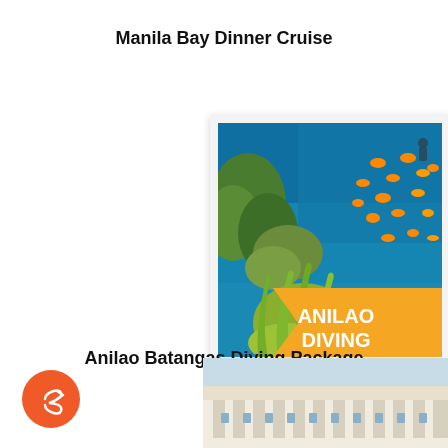Manila Bay Dinner Cruise
[Figure (photo): Polaroid-style photo of Anilao coral reef with tropical orange fish and sea anemones. Orange banner in bottom right reads 'ANILAO DIVING'.]
Anilao Batangas Diving Package
[Figure (illustration): Orange circular share/reply button icon in bottom left corner.]
[Figure (photo): Partial photo of a white colonial-style building at bottom right, cut off by page edge.]